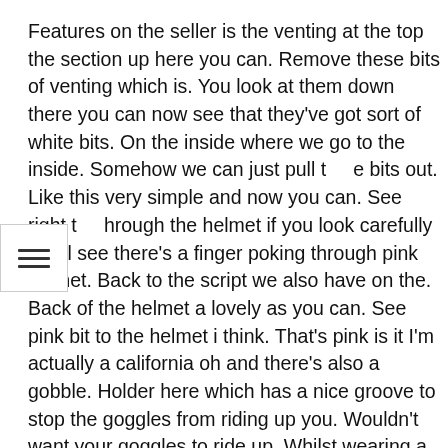Features on the seller is the venting at the top the section up here you can. Remove these bits of venting which is. You look at them down there you can now see that they've got sort of white bits. On the inside where we go to the inside. Somehow we can just pull the bits out. Like this very simple and now you can. See right through the helmet if you look carefully you'll see there's a finger poking through pink helmet. Back to the script we also have on the. Back of the helmet a lovely as you can. See pink bit to the helmet i think. That's pink is it I'm actually a california oh and there's also a gobble. Holder here which has a nice groove to stop the goggles from riding up you. Wouldn't want your goggles to ride up. Whilst wearing a pink helmet well the. Other interesting part for this helmet is the adjuster for the inside it's a very simple adjustment can you see how that's closing in the inner sleeve to. The helmet well that's what makes it a nice tight fit and obviously if your. Helmet must read i eat otherwise it. Would fall off and i think we've. Probably seen enough of this to a poor. Helmet just trying to undo very simple. Undo mechanism here which is really simple to do notice the chinstrap as well. Which will help to keep it from coming off mid